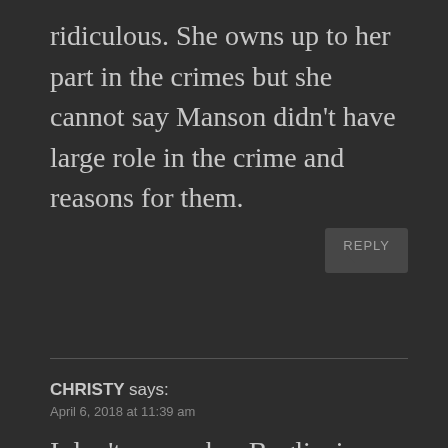ridiculous. She owns up to her part in the crimes but she cannot say Manson didn't have large role in the crime and reasons for them.
CHRISTY says:
April 6, 2018 at 11:39 am
I don't remember Bugliosi saying the four would never in a million murder